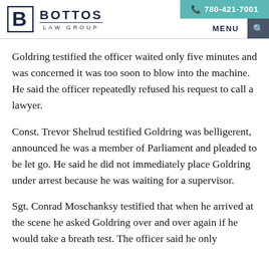Bottos Law Group | 780-421-7001 | MENU
Goldring testified the officer waited only five minutes and was concerned it was too soon to blow into the machine. He said the officer repeatedly refused his request to call a lawyer.
Const. Trevor Shelrud testified Goldring was belligerent, announced he was a member of Parliament and pleaded to be let go. He said he did not immediately place Goldring under arrest because he was waiting for a supervisor.
Sgt. Conrad Moschanksy testified that when he arrived at the scene he asked Goldring over and over again if he would take a breath test. The officer said he only